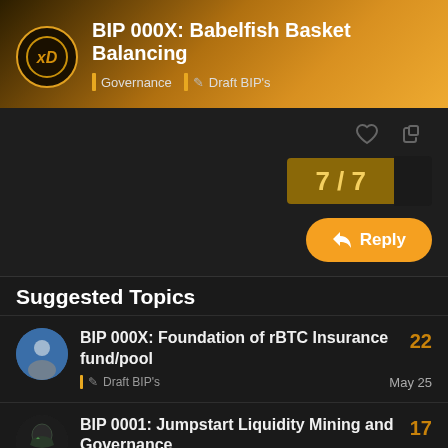BIP 000X: Babelfish Basket Balancing | Governance | Draft BIP's
7 / 7
Reply
Suggested Topics
BIP 000X: Foundation of rBTC Insurance fund/pool | Draft BIP's | May 25 | 22
BIP 0001: Jumpstart Liquidity Mining and Governance | Draft BIP's | Feb 7 | 17
Proposal Draft - Add BDUS to ... | 6